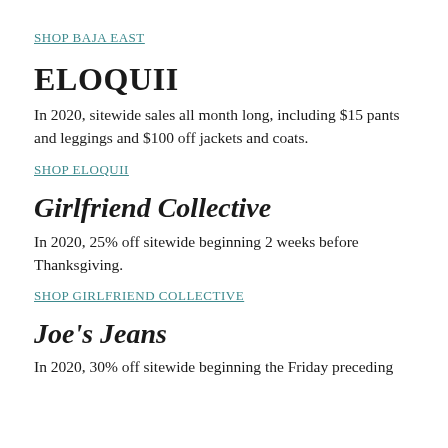SHOP BAJA EAST
ELOQUII
In 2020, sitewide sales all month long, including $15 pants and leggings and $100 off jackets and coats.
SHOP ELOQUII
Girlfriend Collective
In 2020, 25% off sitewide beginning 2 weeks before Thanksgiving.
SHOP GIRLFRIEND COLLECTIVE
Joe's Jeans
In 2020, 30% off sitewide beginning the Friday preceding